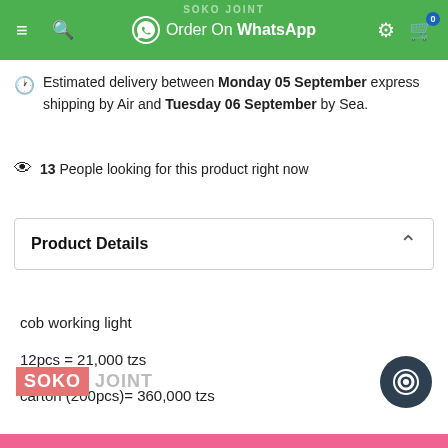Order On WhatsApp
Estimated delivery between Monday 05 September express shipping by Air and Tuesday 06 September by Sea.
13 People looking for this product right now
Product Details
cob working light
12pcs = 21,000 tzs
carton (200pcs)= 360,000 tzs